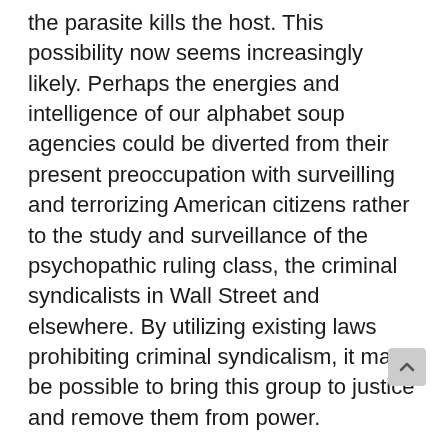the parasite kills the host. This possibility now seems increasingly likely. Perhaps the energies and intelligence of our alphabet soup agencies could be diverted from their present preoccupation with surveilling and terrorizing American citizens rather to the study and surveillance of the psychopathic ruling class, the criminal syndicalists in Wall Street and elsewhere. By utilizing existing laws prohibiting criminal syndicalism, it may be possible to bring this group to justice and remove them from power.
Indeed, this seems to be the most basic survival strategy for non-Jews. This is how President Trump could ¨drain the swamp.¨ If the ¨swamp¨ (influence of the World Order) keeps growing exponentially, America could go the way of Russia a century ago and be destroyed by another